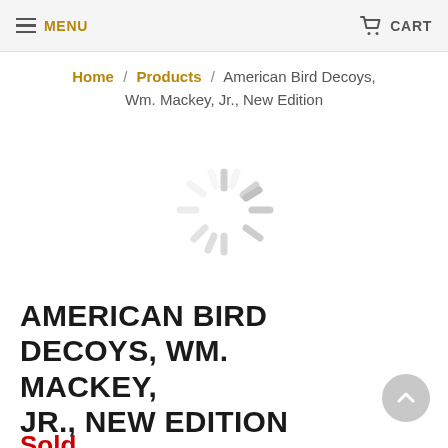MENU   CART
Home / Products / American Bird Decoys, Wm. Mackey, Jr., New Edition
[Figure (other): Loading spinner graphic (grey rotating dashes circle)]
AMERICAN BIRD DECOYS, WM. MACKEY, JR., NEW EDITION
Sold